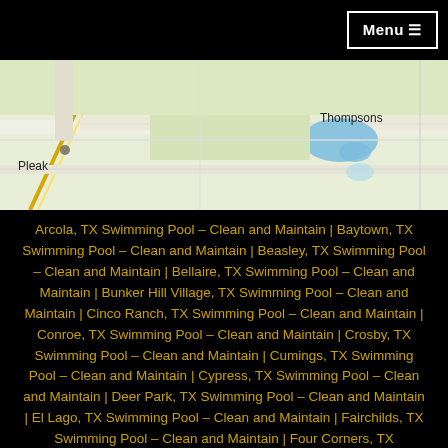Menu
[Figure (map): Road map showing Pleak and Thompsons areas in Texas with green landscape, roads, and a small blue water body near Thompsons.]
Arcola, TX Swimming Pool – Clean and Maintain | Baytown, TX Swimming Pool – Clean and Maintain | Beasley, TX Swimming Pool – Clean and Maintain | Bellaire, TX Swimming Pool – Clean and Maintain | Bunker Hill Village, TX Swimming Pool – Clean and Maintain | Cinco Ranch, TX Swimming Pool – Clean and Maintain | Conroe, TX Swimming Pool – Clean and Maintain | Crosby, TX Swimming Pool – Clean and Maintain | Cumings, TX Swimming Pool – Clean and Maintain | Cypress, TX Swimming Pool – Clean and Maintain | Deer Park, TX Swimming Pool – Clean and Maintain | El Lago, TX Swimming Pool – Clean and Maintain | Fairchilds, TX Swimming Pool – Clean and Maintain | Four Corners, TX Swimming Pool – Clean and Maintain | Fresno, TX Swimming Pool – Clean and Maintain |